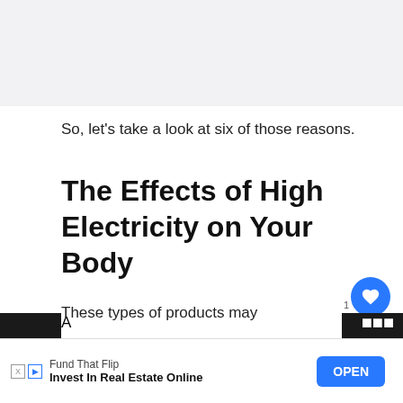[Figure (photo): Gray placeholder image area at the top of the page]
So, let's take a look at six of those reasons.
The Effects of High Electricity on Your Body
These types of products may occasionally stop working after a while. As a result, the most common cause is the human body's e[lectricity]. In our eyes, we can't see the levels of electricity.
[Figure (other): Heart/like button (blue circle with heart icon) and share button (white circle with share icon), and a badge showing '1']
[Figure (other): WHAT'S NEXT panel: thumbnail image and text 'Why Do People Wear...']
A[s...] [im]pacted
[Figure (other): Advertisement banner: Fund That Flip — Invest In Real Estate Online — OPEN button]